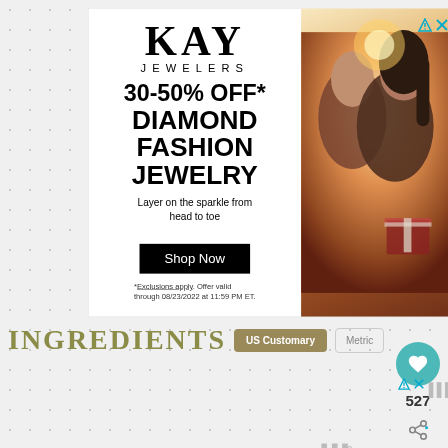[Figure (illustration): Kay Jewelers advertisement showing 30-50% off Diamond Fashion Jewelry with a couple photo and Shop Now button]
[Figure (infographic): What's Next sidebar showing Honey Garlic Oven Roast thumbnail with teal arrow label]
527
INGREDIENTS
US Customary   Metric
[Figure (illustration): ZBar advertisement showing child eating snack bar with text IMAGINATION NEEDS FUEL on blue background]